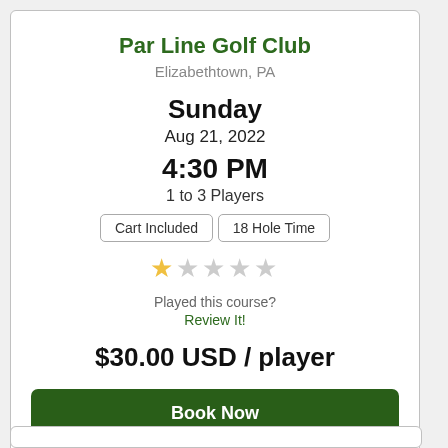Par Line Golf Club
Elizabethtown, PA
Sunday
Aug 21, 2022
4:30 PM
1 to 3 Players
Cart Included
18 Hole Time
Played this course?
Review It!
$30.00 USD / player
Book Now